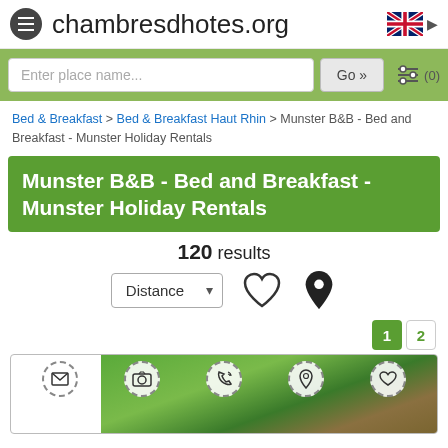chambresdhotes.org
Enter place name...   Go »   (0)
Bed & Breakfast > Bed & Breakfast Haut Rhin > Munster B&B - Bed and Breakfast - Munster Holiday Rentals
Munster B&B - Bed and Breakfast - Munster Holiday Rentals
120 results
Distance
[Figure (screenshot): Listing card showing icons (envelope, camera, phone, location pin, heart) and a photo of a house surrounded by trees]